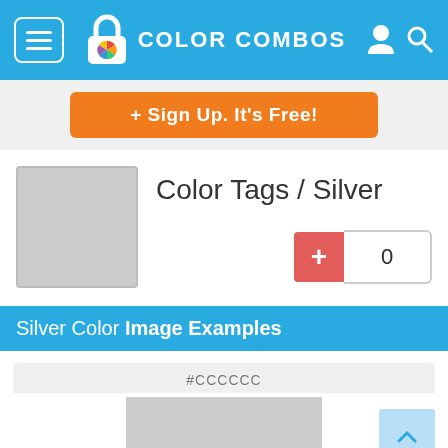COLOR COMBOS
+ Sign Up. It's Free!
Color Tags / Silver
0
Silver Color Image Examples
#CCCCCC
[Figure (illustration): Silver color swatch block preview with #CCCCCC color]